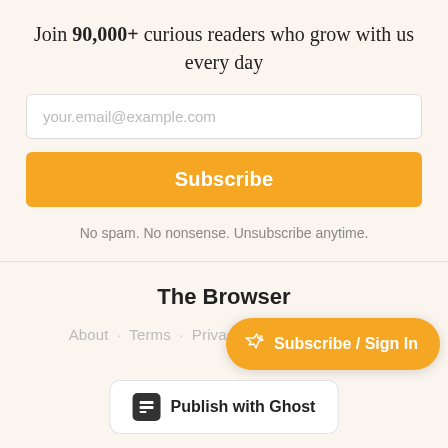Join 90,000+ curious readers who grow with us every day
[Figure (screenshot): Email input field with placeholder text 'your.email@example.com']
[Figure (screenshot): Orange Subscribe button]
No spam. No nonsense. Unsubscribe anytime.
The Browser
About · Terms · Privacy · Contact · Log In
[Figure (screenshot): Orange floating pill button with ghost icon and text 'Subscribe / Sign In']
[Figure (screenshot): White rounded button with grid icon and text 'Publish with Ghost']